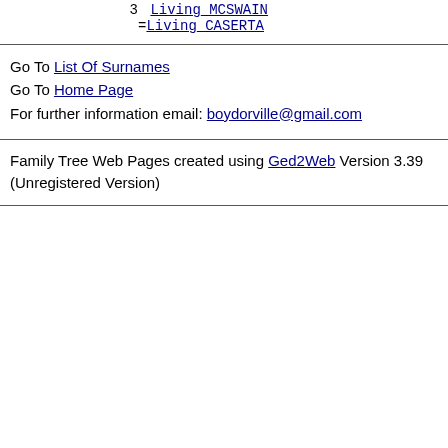3  Living MCSWAIN
=Living CASERTA
Go To List Of Surnames
Go To Home Page
For further information email: boydorville@gmail.com
Family Tree Web Pages created using Ged2Web Version 3.39 (Unregistered Version)